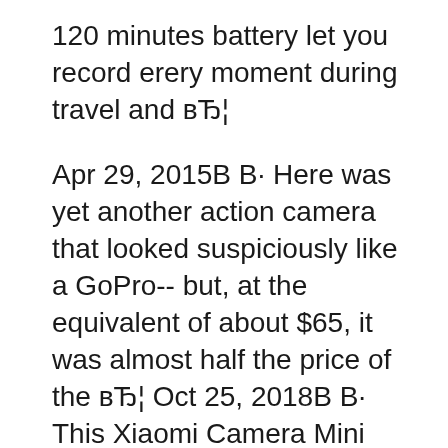120 minutes battery let you record erery moment during travel and вЂ¦
Apr 29, 2015В В· Here was yet another action camera that looked suspiciously like a GoPro-- but, at the equivalent of about $65, it was almost half the price of the вЂ¦ Oct 25, 2018В В· This Xiaomi Camera Mini 2.4-inch touch screen action camera with 7 glass lens supports 4K 30fps video record, the six-axis EIS is more stable for shooting. It is useful to catching all your action moments and has a variety of necessary features which make it perfect for photo-shooting, outdoor sports, home security and deep-water probing
Price: GoPro Hero5 can be ordered online with a